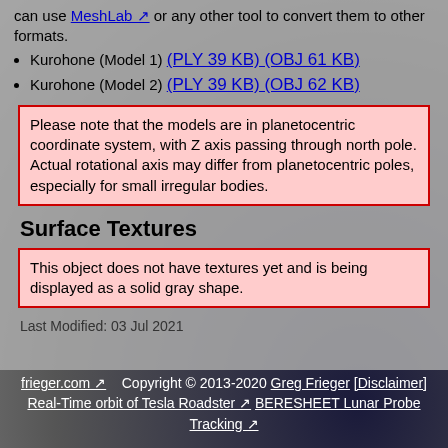can use MeshLab or any other tool to convert them to other formats.
Kurohone (Model 1) (PLY 39 KB) (OBJ 61 KB)
Kurohone (Model 2) (PLY 39 KB) (OBJ 62 KB)
Please note that the models are in planetocentric coordinate system, with Z axis passing through north pole. Actual rotational axis may differ from planetocentric poles, especially for small irregular bodies.
Surface Textures
This object does not have textures yet and is being displayed as a solid gray shape.
Last Modified: 03 Jul 2021
frieger.com  Copyright © 2013-2020 Greg Frieger [Disclaimer] Real-Time orbit of Tesla Roadster  BERESHEET Lunar Probe Tracking